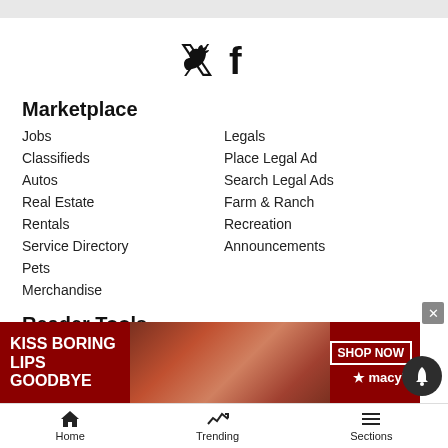[Figure (logo): Twitter and Facebook social media icons]
Marketplace
Jobs
Classifieds
Autos
Real Estate
Rentals
Service Directory
Pets
Merchandise
Legals
Place Legal Ad
Search Legal Ads
Farm & Ranch
Recreation
Announcements
Reader Tools
Contact Us
Become a Carrier
Buy Photos
Commercial Print Sales
[Figure (illustration): Macy's advertisement banner: KISS BORING LIPS GOODBYE with SHOP NOW button and Macy's logo]
Home   Trending   Sections